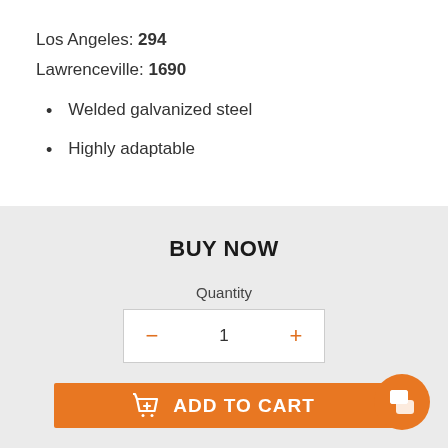Los Angeles: 294
Lawrenceville: 1690
Welded galvanized steel
Highly adaptable
BUY NOW
Quantity
− 1 +
ADD TO CART